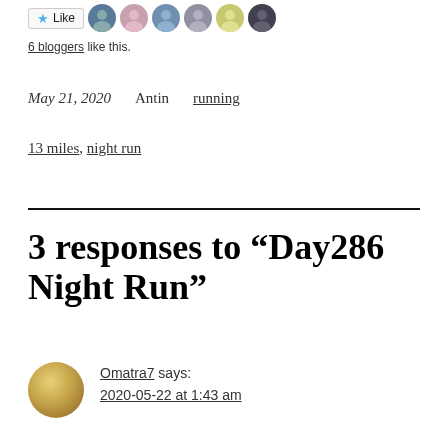[Figure (screenshot): Like button with star icon and 6 blogger avatar thumbnails]
6 bloggers like this.
May 21, 2020   Antin   running
13 miles, night run
3 responses to “Day286 Night Run”
Omatra7 says:
2020-05-22 at 1:43 am